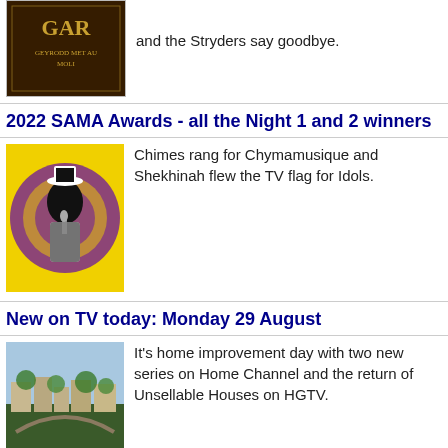and the Stryders say goodbye.
2022 SAMA Awards - all the Night 1 and 2 winners
Chimes rang for Chymamusique and Shekhinah flew the TV flag for Idols.
New on TV today: Monday 29 August
It's home improvement day with two new series on Home Channel and the return of Unsellable Houses on HGTV.
New on TV today: Sunday 28 August
My Obese Life airs on CBS Reality, a Doodsondes omnibus begins on eExtra and the SAMAs are live on SABC1.
New on TV today: Saturday 27 August
CBS Reality documents us Eating Ourselves to Death, as Die Kontrak 2 starts a run on e.tv